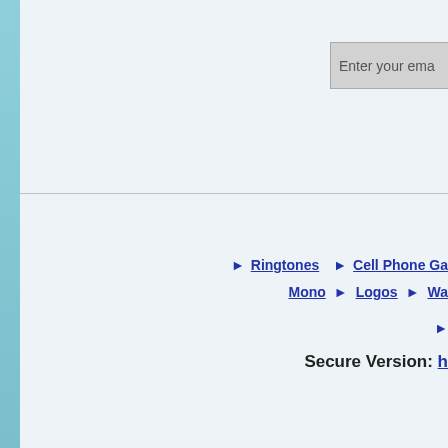Enter your email
► Ringtones   ► Cell Phone Ga...
Mono ►   Logos ►   Wa...
►
Secure Version: h...
Funn...
Just reminding between ho...
Artist nam...